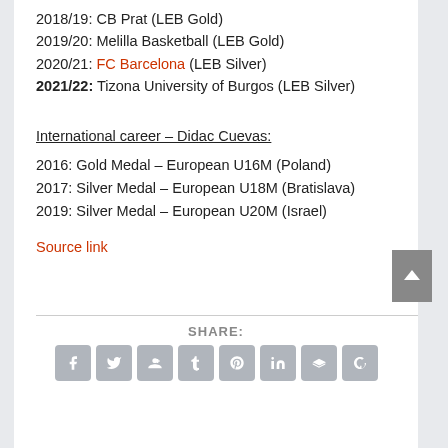2018/19: CB Prat (LEB Gold)
2019/20: Melilla Basketball (LEB Gold)
2020/21: FC Barcelona (LEB Silver)
2021/22: Tizona University of Burgos (LEB Silver)
International career – Didac Cuevas:
2016: Gold Medal – European U16M (Poland)
2017: Silver Medal – European U18M (Bratislava)
2019: Silver Medal – European U20M (Israel)
Source link
SHARE: